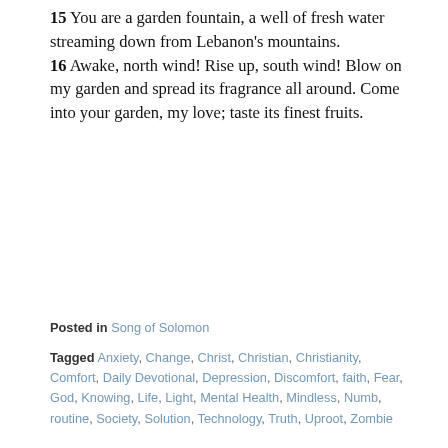15 You are a garden fountain, a well of fresh water streaming down from Lebanon's mountains. 16 Awake, north wind! Rise up, south wind! Blow on my garden and spread its fragrance all around. Come into your garden, my love; taste its finest fruits.
Posted in Song of Solomon
Tagged Anxiety, Change, Christ, Christian, Christianity, Comfort, Daily Devotional, Depression, Discomfort, faith, Fear, God, Knowing, Life, Light, Mental Health, Mindless, Numb, routine, Society, Solution, Technology, Truth, Uproot, Zombie
[Figure (photo): A dark brown/olive colored image showing what appears to be a wooden surface or background with a thin horizontal blue-gray stripe and a lighter inner rectangle border visible.]